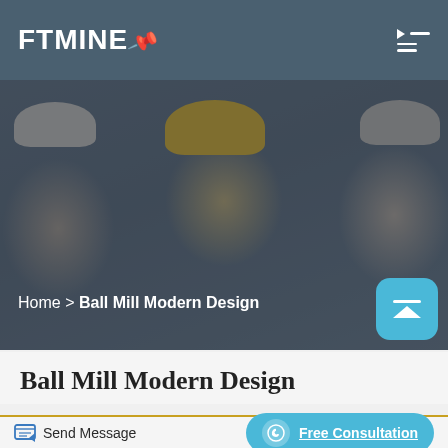FTMINE
[Figure (photo): Three workers wearing hard hats (white, yellow, white) in a blurred outdoor setting, used as a hero banner background image.]
Home > Ball Mill Modern Design
Ball Mill Modern Design
Send Message
Free Consultation